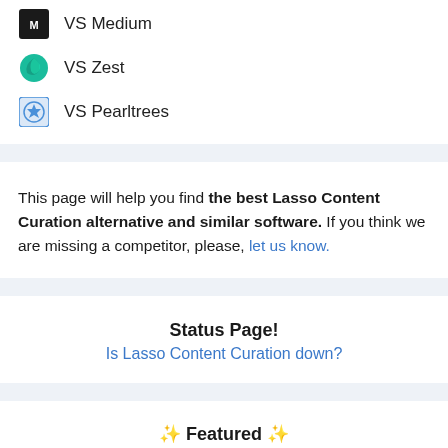VS Medium
VS Zest
VS Pearltrees
This page will help you find the best Lasso Content Curation alternative and similar software. If you think we are missing a competitor, please, let us know.
Status Page!
Is Lasso Content Curation down?
✨ Featured ✨